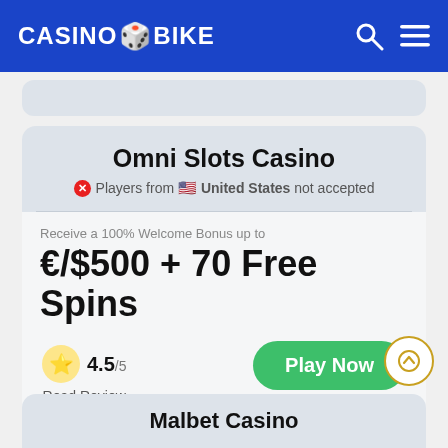CASINO BIKE
Omni Slots Casino
Players from United States not accepted
Receive a 100% Welcome Bonus up to
€/$500 + 70 Free Spins
4.5/5
Read Review
Play Now
T&Cs Apply
Malbet Casino